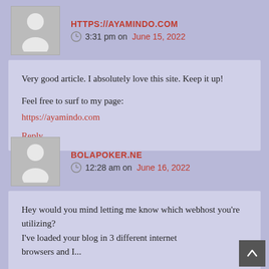HTTPS://AYAMINDO.COM
3:31 pm on June 15, 2022
Very good article. I absolutely love this site. Keep it up!

Feel free to surf to my page:
https://ayamindo.com

Reply
BOLAPOKER.NE
12:28 am on June 16, 2022
Hey would you mind letting me know which webhost you're utilizing?
I've loaded your blog in 3 different internet browsers and I...